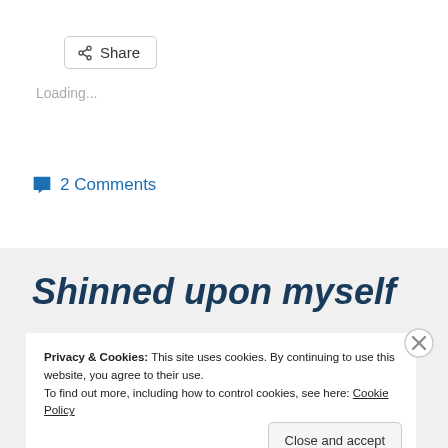[Figure (other): Share button with share icon]
Loading...
💬 2 Comments
Shinned upon myself
Privacy & Cookies: This site uses cookies. By continuing to use this website, you agree to their use.
To find out more, including how to control cookies, see here: Cookie Policy
[Figure (other): Close (X) button for cookie banner]
Close and accept